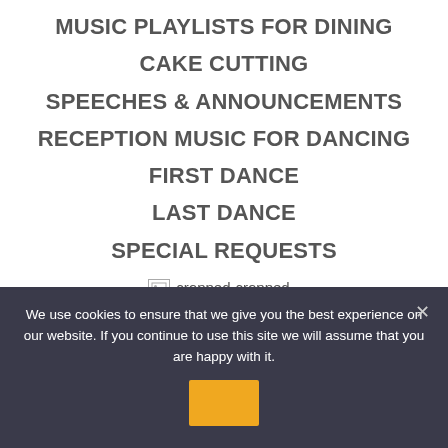MUSIC PLAYLISTS FOR DINING
CAKE CUTTING
SPEECHES & ANNOUNCEMENTS
RECEPTION MUSIC FOR DANCING
FIRST DANCE
LAST DANCE
SPECIAL REQUESTS
[Figure (photo): Broken image placeholder labeled cropped-cropped-DIVINE-SOUND-PROFILE-PIC.png]
We use cookies to ensure that we give you the best experience on our website. If you continue to use this site we will assume that you are happy with it.